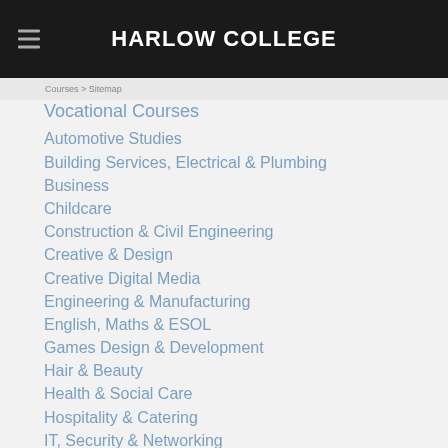HARLOW COLLEGE
Vocational Courses
Automotive Studies
Building Services, Electrical & Plumbing
Business
Childcare
Construction & Civil Engineering
Creative & Design
Creative Digital Media
Engineering & Manufacturing
English, Maths & ESOL
Games Design & Development
Hair & Beauty
Health & Social Care
Hospitality & Catering
IT, Security & Networking
Social Media & Journalism
Leadership and Management
Music